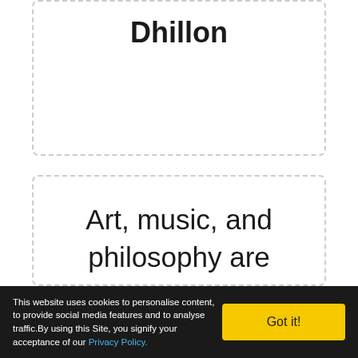Dhillon
Art, music, and philosophy are merely poignant examples of what we might have been had not the priests and traders gotten hold
This website uses cookies to personalise content, to provide social media features and to analyse traffic. By using this Site, you signify your acceptance of our Privacy Policy.